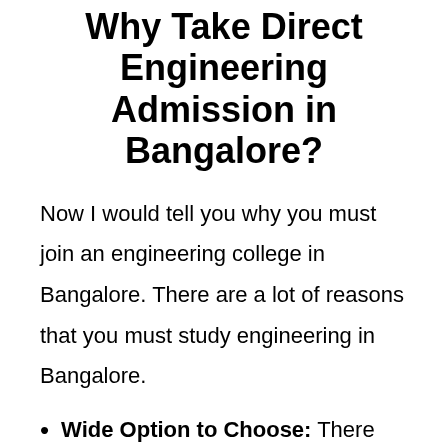Why Take Direct Engineering Admission in Bangalore?
Now I would tell you why you must join an engineering college in Bangalore. There are a lot of reasons that you must study engineering in Bangalore.
Wide Option to Choose: There are lots of engineering colleges that